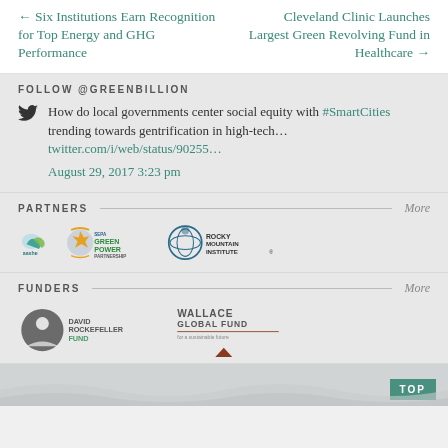← Six Institutions Earn Recognition for Top Energy and GHG Performance
Cleveland Clinic Launches Largest Green Revolving Fund in Healthcare →
FOLLOW @GREENBILLION
How do local governments center social equity with #SmartCities trending towards gentrification in high-tech… twitter.com/i/web/status/90255… August 29, 2017 3:23 pm
PARTNERS
[Figure (logo): aashe logo]
[Figure (logo): SEPA Green Power Partnership logo]
[Figure (logo): Rocky Mountain Institute logo]
FUNDERS
[Figure (logo): David Rockefeller Fund logo]
[Figure (logo): Wallace Global Fund logo]